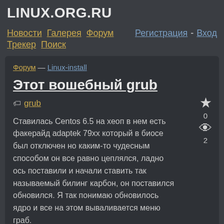LINUX.ORG.RU
Новости  Галерея  Форум  Регистрация - Вход  Трекер  Поиск
Форум — Linux-install
Этот вошебный grub
grub
Ставилась Centos 6.5 на хеоп в нем есть факерайд adaptek 79хх который в биосе был отключен но каким-то чудесным способом он все равно цеплялся, ладно ось поставили и начали ставить так называемый билинг карбон, он поставился обновился. Я так понимаю обновилось ядро и все на этом вываливается меню граб.